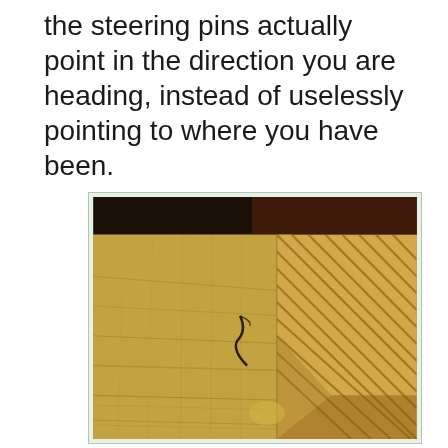the steering pins actually point in the direction you are heading, instead of uselessly pointing to where you have been.
[Figure (photo): Close-up photograph of a piece of wood showing grain patterns. The left half shows rough, fibrous wood surface (end grain or side grain with visible texture and a dark crack/knot). The right half shows diagonal parallel lines indicating a cut cross-section with striped wood grain pattern. Colors are golden-brown and tan. Dark background visible at top.]